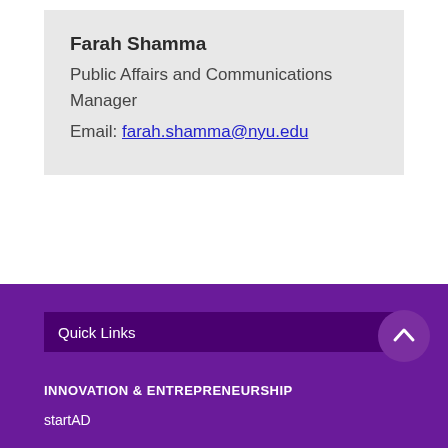Farah Shamma
Public Affairs and Communications Manager
Email: farah.shamma@nyu.edu
Quick Links
INNOVATION & ENTREPRENEURSHIP
startAD